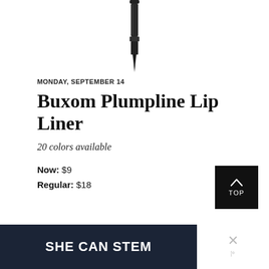[Figure (photo): Close-up photo of a Buxom Plumpline Lip Liner cosmetic pencil, shown from top, dark/black colored, centered on white background]
MONDAY, SEPTEMBER 14
Buxom Plumpline Lip Liner
20 colors available
Now: $9
Regular: $18
SHOP IT NOW
[Figure (screenshot): Black TOP button with upward arrow chevron in top right area]
[Figure (illustration): Dark navy banner at bottom reading 'SHE CAN STEM' in bold white text, with a close X button and weather logo on the right side]